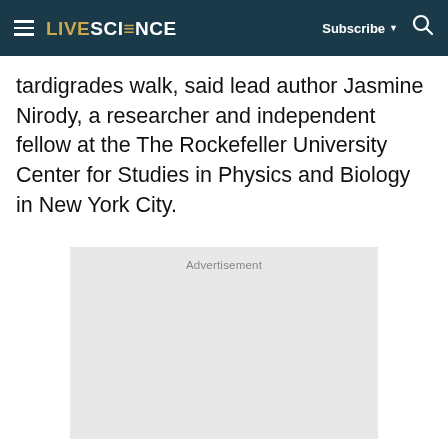LIVESCIENCE | Subscribe | Search
tardigrades walk, said lead author Jasmine Nirody, a researcher and independent fellow at the The Rockefeller University Center for Studies in Physics and Biology in New York City.
[Figure (other): Advertisement placeholder box with light gray background and 'Advertisement' label text]